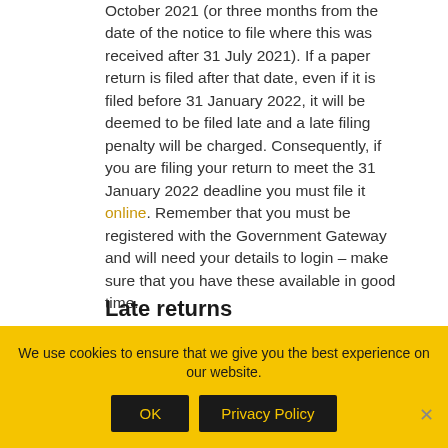October 2021 (or three months from the date of the notice to file where this was received after 31 July 2021). If a paper return is filed after that date, even if it is filed before 31 January 2022, it will be deemed to be filed late and a late filing penalty will be charged. Consequently, if you are filing your return to meet the 31 January 2022 deadline you must file it online. Remember that you must be registered with the Government Gateway and will need your details to login – make sure that you have these available in good time.
Late returns
If you file your tax return online after midnight on 31 January 2022 (unless an extended deadline applies
We use cookies to ensure that we give you the best experience on our website.